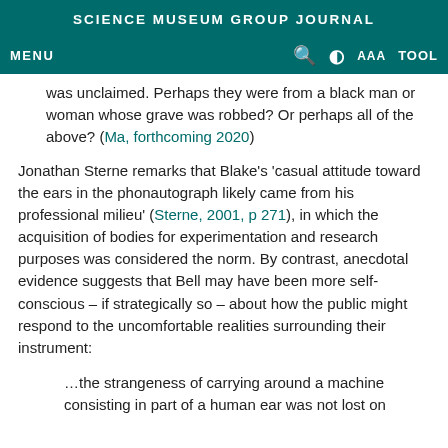SCIENCE MUSEUM GROUP JOURNAL
MENU   🔍   ◐   AAA   TOOL
was unclaimed. Perhaps they were from a black man or woman whose grave was robbed? Or perhaps all of the above? (Ma, forthcoming 2020)
Jonathan Sterne remarks that Blake's 'casual attitude toward the ears in the phonautograph likely came from his professional milieu' (Sterne, 2001, p 271), in which the acquisition of bodies for experimentation and research purposes was considered the norm. By contrast, anecdotal evidence suggests that Bell may have been more self-conscious – if strategically so – about how the public might respond to the uncomfortable realities surrounding their instrument:
…the strangeness of carrying around a machine consisting in part of a human ear was not lost on